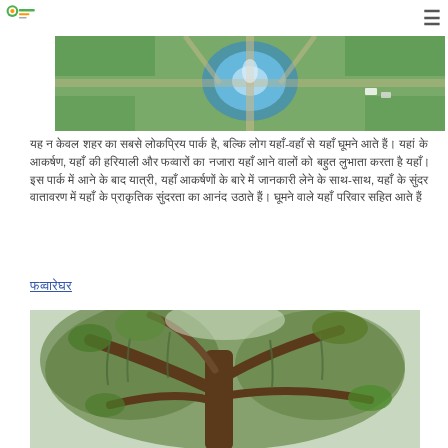tripinphilippines.com [logo] [hamburger menu]
[Figure (photo): Aerial view of a circular fountain surrounded by green park and pathways]
Hindi text paragraph describing a place with details about attractions and activities
Hindi section heading link
[Figure (photo): Photo of a large old tree with sprawling branches and hanging moss/vines]